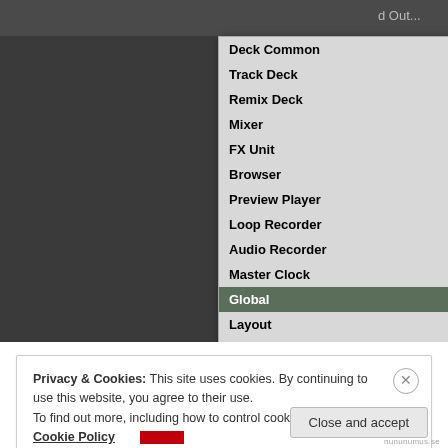[Figure (screenshot): Screenshot of a software UI (likely Traktor DJ software) showing a context menu with items: Deck Common, Track Deck, Remix Deck, Mixer, FX Unit, Browser, Preview Player, Loop Recorder, Audio Recorder, Master Clock, Global (highlighted/active), Layout, Modifier. The Global submenu is expanded showing: Snap On, Quant On, Broadcasting On, Cruise Mode On, Show Slider Values On, Tool Tips On (highlighted), Send Monitor State. Behind the menu is a dark panel UI with a Learn button, Modifier and Valu column headers, and a dropdown.]
Privacy & Cookies: This site uses cookies. By continuing to use this website, you agree to their use.
To find out more, including how to control cookies, see here: Cookie Policy
Close and accept